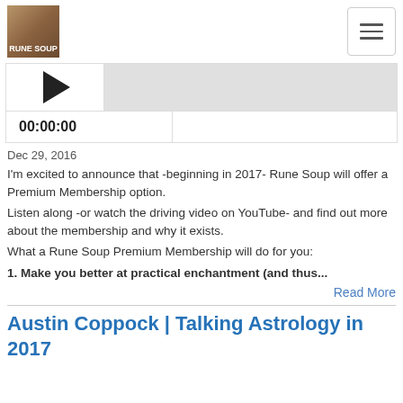RUNE SOUP
[Figure (screenshot): Audio player with play button and progress bar, showing time 00:00:00]
Dec 29, 2016
I'm excited to announce that -beginning in 2017- Rune Soup will offer a Premium Membership option.
Listen along -or watch the driving video on YouTube- and find out more about the membership and why it exists.
What a Rune Soup Premium Membership will do for you:
1. Make you better at practical enchantment (and thus...
Read More
Austin Coppock | Talking Astrology in 2017